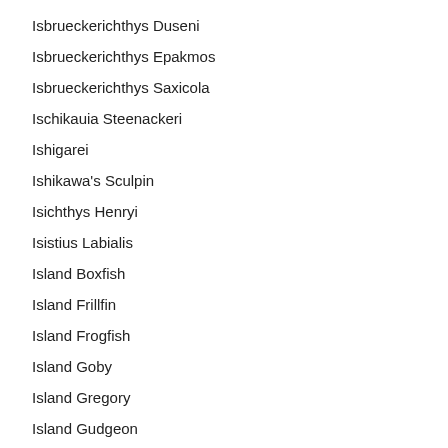Isbrueckerichthys Duseni
Isbrueckerichthys Epakmos
Isbrueckerichthys Saxicola
Ischikauia Steenackeri
Ishigarei
Ishikawa's Sculpin
Isichthys Henryi
Isistius Labialis
Island Boxfish
Island Frillfin
Island Frogfish
Island Goby
Island Gregory
Island Gudgeon